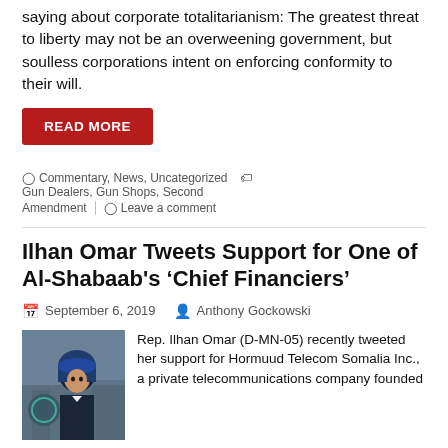saying about corporate totalitarianism: The greatest threat to liberty may not be an overweening government, but soulless corporations intent on enforcing conformity to their will.
READ MORE
Commentary, News, Uncategorized  |  Gun Dealers, Gun Shops, Second Amendment  |  Leave a comment
Ilhan Omar Tweets Support for One of Al-Shabaab's ‘Chief Financiers’
September 6, 2019  |  Anthony Gockowski
Rep. Ilhan Omar (D-MN-05) recently tweeted her support for Hormuud Telecom Somalia Inc., a private telecommunications company founded by one of al-Shabaab’s “chief financiers.”
READ MORE